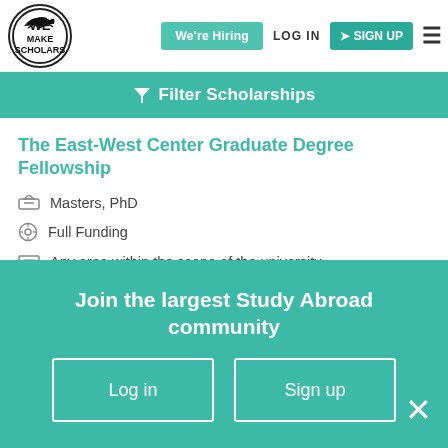We Make Scholars — We're Hiring | LOG IN | SIGN UP
Filter Scholarships
The East-West Center Graduate Degree Fellowship
Masters, PhD
Full Funding
Any area within the scope of the university
Permanent residents of Pacific and Asia can apply
University of Hawaii
Join the largest Study Abroad community
Log in
Sign up